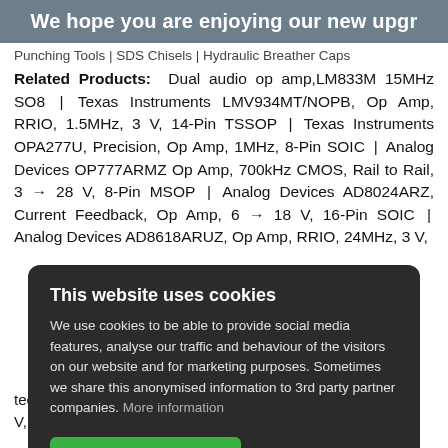We hope you are enjoying our new upgr
Punching Tools | SDS Chisels | Hydraulic Breather Caps
Related Products: Dual audio op amp,LM833M 15MHz SO8 | Texas Instruments LMV934MT/NOPB, Op Amp, RRIO, 1.5MHz, 3 V, 14-Pin TSSOP | Texas Instruments OPA277U, Precision, Op Amp, 1MHz, 8-Pin SOIC | Analog Devices OP777ARMZ Op Amp, 700kHz CMOS, Rail to Rail, 3 → 28 V, 8-Pin MSOP | Analog Devices AD8024ARZ, Current Feedback, Op Amp, 6 → 18 V, 16-Pin SOIC | Analog Devices AD8618ARUZ, Op Amp, RRIO, 24MHz, 3 V,
This website uses cookies
We use cookies to be able to provide social media features, analyse our traffic and behaviour of the visitors on our website and for marketing purposes. Sometimes we share this anonymised information to 3rd party partner companies. More information
I accept all Cookies   Change settings
technology, Precision, Op Amp, RRIO, 12Hz to RHz, no V, 8-Pin SO | MAX16355A+ Maxim Op Amp RRIO